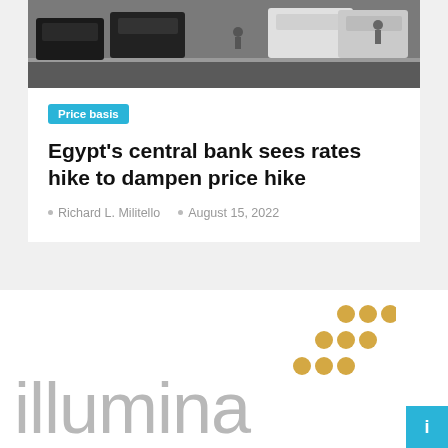[Figure (photo): Street scene with cars and pedestrians, viewed from above/side]
Price basis
Egypt's central bank sees rates hike to dampen price hike
Richard L. Militello  •  August 15, 2022
[Figure (logo): Illumina logo with golden dot grid pattern and grey text on white background]